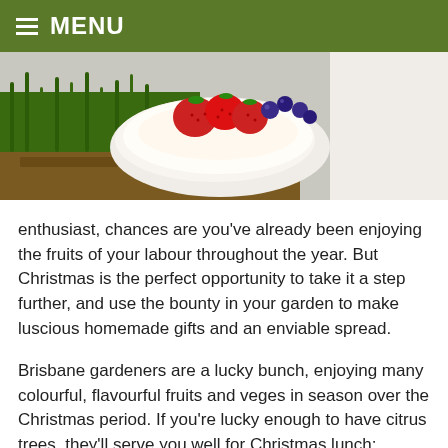MENU
[Figure (photo): Photo of a pavlova or meringue dessert topped with strawberries and blueberries, set against a background of green grass and garden plants]
enthusiast, chances are you've already been enjoying the fruits of your labour throughout the year. But Christmas is the perfect opportunity to take it a step further, and use the bounty in your garden to make luscious homemade gifts and an enviable spread.
Brisbane gardeners are a lucky bunch, enjoying many colourful, flavourful fruits and veges in season over the Christmas period. If you're lucky enough to have citrus trees, they'll serve you well for Christmas lunch: they're the perfect accompaniment for glazed ham, barbecue meats, and vinaigrettes. And don't forget the desserts: besides citrus, pears, passionfruit and other fruits will be perfect in fruit punch, cheesecakes and sauces; and strawberries are